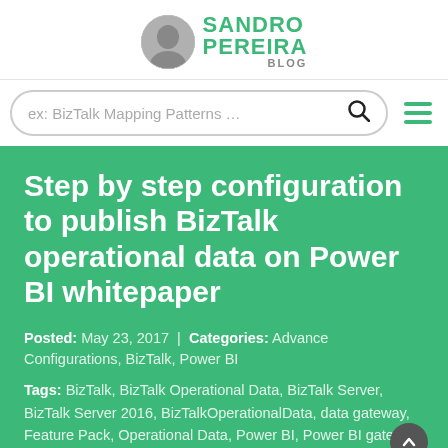[Figure (logo): Sandro Pereira Blog logo with avatar photo and green text]
[Figure (screenshot): Search bar with placeholder 'ex: BizTalk Mapping Patterns ...' and search icon, plus hamburger menu icon]
Step by step configuration to publish BizTalk operational data on Power BI whitepaper
Posted: May 23, 2017  |  Categories: Advance Configurations, BizTalk, Power BI
Tags: BizTalk, BizTalk Operational Data, BizTalk Server, BizTalk Server 2016, BizTalkOperationalData, data gateway, Feature Pack, Operational Data, Power BI, Power BI gateway, PowerBI, White Paper